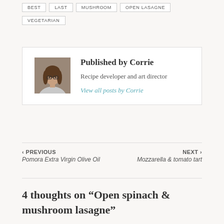BEST
LAST
MUSHROOM
OPEN LASAGNE
VEGETARIAN
Published by Corrie
Recipe developer and art director
View all posts by Corrie
‹ PREVIOUS
Pomora Extra Virgin Olive Oil
NEXT ›
Mozzarella & tomato tart
4 thoughts on “Open spinach & mushroom lasagne”